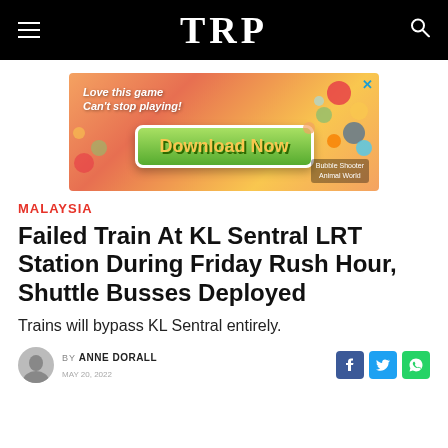TRP
[Figure (photo): Mobile game advertisement banner with colorful bubbles on orange/pink background. Text reads 'Love this game Can't stop playing!' and 'Download Now' with a Bubble Shooter Animal World badge.]
MALAYSIA
Failed Train At KL Sentral LRT Station During Friday Rush Hour, Shuttle Busses Deployed
Trains will bypass KL Sentral entirely.
BY ANNE DORALL